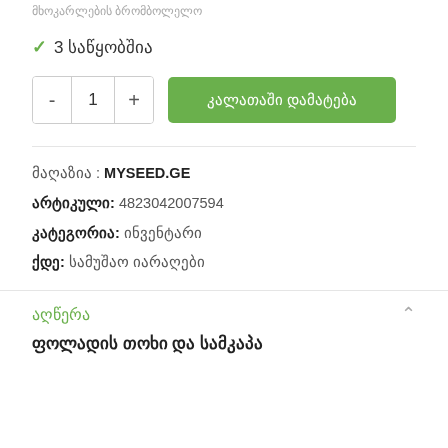მხოკარლების ბრომბოლელო
✓ 3 საწყობშია
- 1 +  კალათაში დამატება
მაღაზია : MYSEED.GE
არტიკული: 4823042007594
კატეგორია: ინვენტარი
ქდე: სამუშაო იარაღები
აღწერა
ფოლადის თოხი და სამკაპა